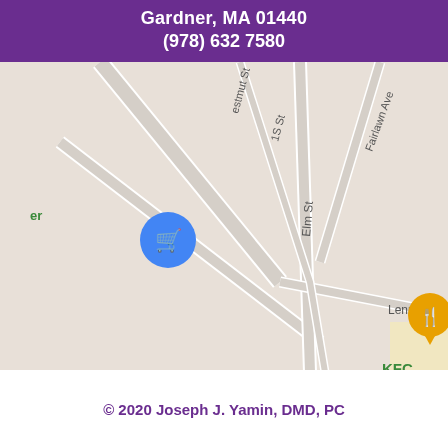Gardner, MA 01440
(978) 632 7580
[Figure (map): Google Maps view of Gardner, MA area showing Elm St, Fairlawn Ave, Lennon St, Eastwood Cir, Foster Bl, with KFC and Wendy's restaurant markers, a shopping cart marker, and a Planet Fitness green location pin. Route 2 highway visible.]
© 2020 Joseph J. Yamin, DMD, PC